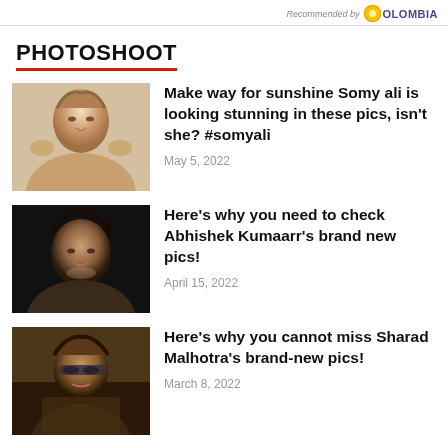Recommended by COLOMBIA
PHOTOSHOOT
[Figure (photo): Photo of Somy Ali, a woman with long hair and large hoop earrings]
Make way for sunshine Somy ali is looking stunning in these pics, isn't she? #somyali
May 5, 2022
[Figure (photo): Photo of Abhishek Kumaarr, a man with curly hair smiling on a dark background]
Here's why you need to check Abhishek Kumaarr's brand new pics!
April 15, 2022
[Figure (photo): Photo of Sharad Malhotra, a man wearing sunglasses and a jacket]
Here's why you cannot miss Sharad Malhotra's brand-new pics!
March 8, 2022